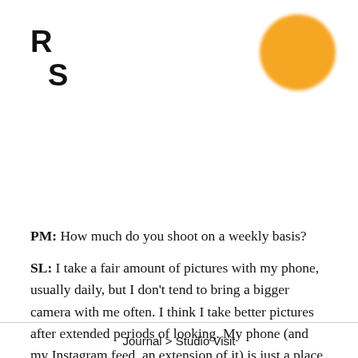RS
[Figure (illustration): Orange circle resembling a sun, positioned in the top-right corner of the page]
PM: How much do you shoot on a weekly basis?
SL: I take a fair amount of pictures with my phone, usually daily, but I don't tend to bring a bigger camera with me often. I think I take better pictures after extended periods of looking. My phone (and my Instagram feed, an extension of it) is just a place for sketching right now. I do
Journal > Studio Visit